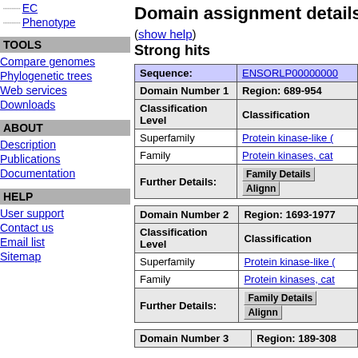EC
Phenotype
TOOLS
Compare genomes
Phylogenetic trees
Web services
Downloads
ABOUT
Description
Publications
Documentation
HELP
User support
Contact us
Email list
Sitemap
Domain assignment details
(show help)
Strong hits
| Sequence: | ENSORLP00000000 |
| --- | --- |
| Domain Number 1 | Region: 689-954 |
| Classification Level | Classification |
| Superfamily | Protein kinase-like ( |
| Family | Protein kinases, cat |
| Further Details: | Family Details  Alignn |
| Domain Number 2 | Region: 1693-1977 |
| Classification Level | Classification |
| Superfamily | Protein kinase-like ( |
| Family | Protein kinases, cat |
| Further Details: | Family Details  Alignn |
| Domain Number 3 | Region: 189-308 |